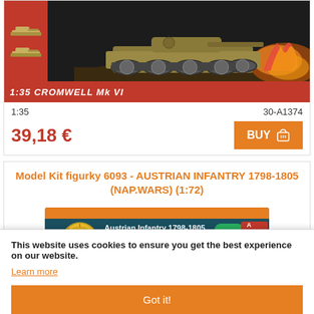[Figure (photo): Product image of 1:35 Cromwell Mk VI tank model kit with red background and tank artwork]
1:35
30-A1374
39,18 €
BUY
Model Kit figurky 6093 - AUSTRIAN INFANTRY 1798-1805 (NAP.WARS) (1:72)
[Figure (photo): Product image of Austrian Infantry 1798-1805 Napoleonic Wars model kit box by Italeri, No. 6093, 1:72 scale]
This website uses cookies to ensure you get the best experience on our website.
Learn more
Got it!